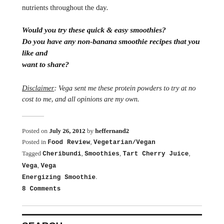nutrients throughout the day.
Would you try these quick & easy smoothies?
Do you have any non-banana smoothie recipes that you like and want to share?
Disclaimer: Vega sent me these protein powders to try at no cost to me, and all opinions are my own.
Posted on July 26, 2012 by heffernand2
Posted in Food Review, Vegetarian/Vegan
Tagged Cheribundi, Smoothies, Tart Cherry Juice, Vega, Vega Energizing Smoothie.
8 Comments
SEARCH